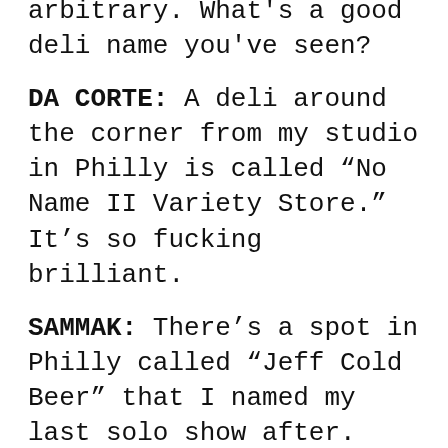arbitrary. What's a good deli name you've seen?
DA CORTE: A deli around the corner from my studio in Philly is called “No Name II Variety Store.” It’s so fucking brilliant.
SAMMAK: There’s a spot in Philly called “Jeff Cold Beer” that I named my last solo show after. It’s recreated in the awning here. I like that in that phrase “Jeff Cold Beer,” Jeff becomes an adjective; it’s a degree of coldness. In Williamsburg there’s one called “Produce Deli Seafood Meat,” and I